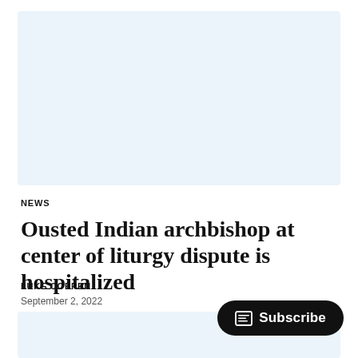[Figure (photo): Light blue placeholder image at top of article page]
NEWS
Ousted Indian archbishop at center of liturgy dispute is hospitalized
LUKE COPPEN
September 2, 2022
[Figure (photo): Light blue placeholder image at bottom of article page]
Subscribe